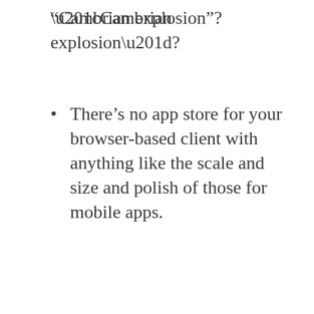“Cambrian explosion”?
There’s no app store for your browser-based client with anything like the scale and size and polish of those for mobile apps.
OK, I know that at every big Web-centric conference, bright-eyed enthusiastic young true browser believers show you how HTML5 rocks